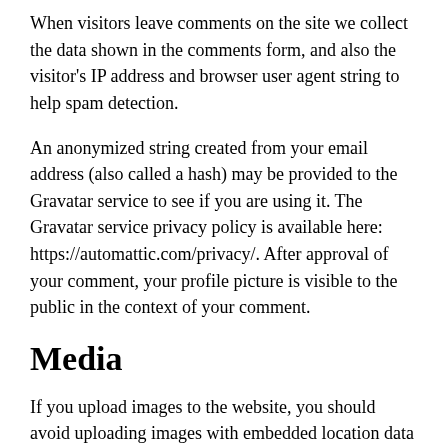When visitors leave comments on the site we collect the data shown in the comments form, and also the visitor's IP address and browser user agent string to help spam detection.
An anonymized string created from your email address (also called a hash) may be provided to the Gravatar service to see if you are using it. The Gravatar service privacy policy is available here: https://automattic.com/privacy/. After approval of your comment, your profile picture is visible to the public in the context of your comment.
Media
If you upload images to the website, you should avoid uploading images with embedded location data (EXIF GPS) included. Visitors to the website can download